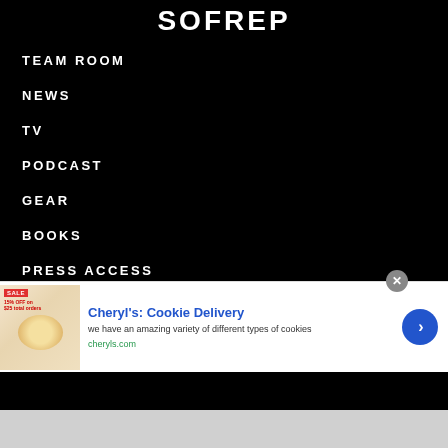SOFREP
TEAM ROOM
NEWS
TV
PODCAST
GEAR
BOOKS
PRESS ACCESS
SOFREP 300
[Figure (screenshot): Advertisement banner for Cheryl's Cookie Delivery showing cookie image, title, description and call-to-action button]